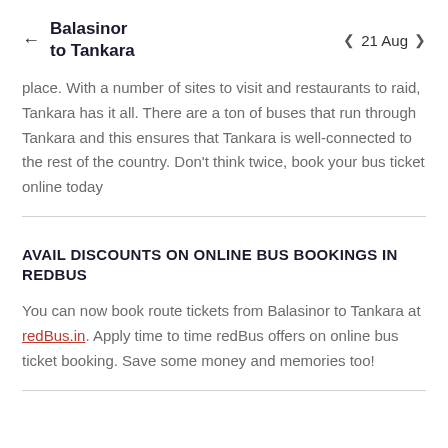← Balasinor to Tankara   〈 21 Aug 〉
place. With a number of sites to visit and restaurants to raid, Tankara has it all. There are a ton of buses that run through Tankara and this ensures that Tankara is well-connected to the rest of the country. Don't think twice, book your bus ticket online today
AVAIL DISCOUNTS ON ONLINE BUS BOOKINGS IN REDBUS
You can now book route tickets from Balasinor to Tankara at redBus.in. Apply time to time redBus offers on online bus ticket booking. Save some money and memories too!